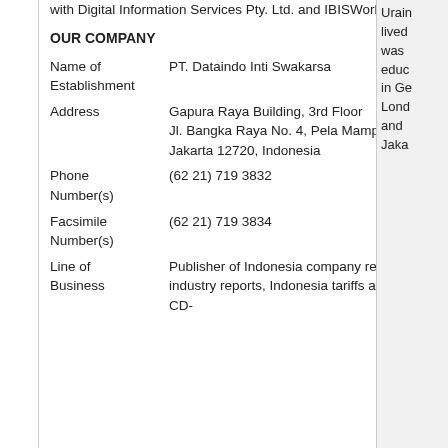with Digital Information Services Pty. Ltd. and IBISWorld Pty. Ltd. (Australia).
OUR COMPANY
| Field | Value |
| --- | --- |
| Name of Establishment | PT. Dataindo Inti Swakarsa |
| Address | Gapura Raya Building, 3rd Floor
Jl. Bangka Raya No. 4, Pela Mampang, Jakarta 12720, Indonesia |
| Phone Number(s) | (62 21) 719 3832 |
| Facsimile Number(s) | (62 21) 719 3834 |
| Line of Business | Publisher of Indonesia company reports, Indonesia industry reports, Indonesia tariffs and trade reports, and CD- |
Urain... lived... was... educ... in Ge... Lond... and Jaka...